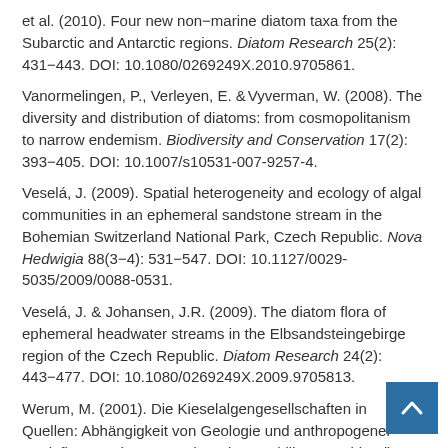et al. (2010). Four new non−marine diatom taxa from the Subarctic and Antarctic regions. Diatom Research 25(2): 431−443. DOI: 10.1080/0269249X.2010.9705861.
Vanormelingen, P., Verleyen, E. & Vyverman, W. (2008). The diversity and distribution of diatoms: from cosmopolitanism to narrow endemism. Biodiversity and Conservation 17(2): 393−405. DOI: 10.1007/s10531-007-9257-4.
Veselá, J. (2009). Spatial heterogeneity and ecology of algal communities in an ephemeral sandstone stream in the Bohemian Switzerland National Park, Czech Republic. Nova Hedwigia 88(3−4): 531−547. DOI: 10.1127/0029-5035/2009/0088-0531.
Veselá, J. & Johansen, J.R. (2009). The diatom flora of ephemeral headwater streams in the Elbsandsteingebirge region of the Czech Republic. Diatom Research 24(2): 443−477. DOI: 10.1080/0269249X.2009.9705813.
Werum, M. (2001). Die Kieselalgengesellschaften in Quellen: Abhängigkeit von Geologie und anthropogener Beeinflussung in Hessen (Bundesrepublik Deutschland). [The diatom communities in springs dependence on geology and anthropogenic influence in Hesse (Federal Republic of Germany)]. Wiesbanden: Schriftenreihe Hessisches